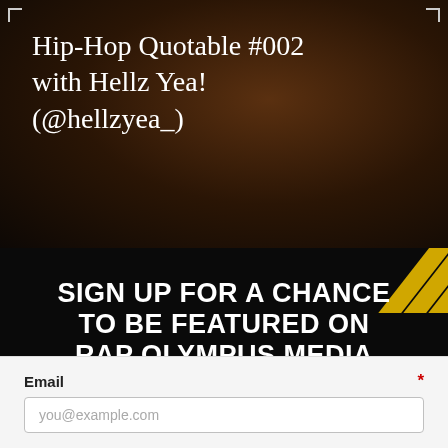Hip-Hop Quotable #002 with Hellz Yea! (@hellzyea_)
SIGN UP FOR A CHANCE TO BE FEATURED ON RAP OLYMPUS MEDIA
(1) ARTIST ON OUR MAILING LIST WILL BE SELECTED EACH MONTH FOR A FREE WRITE-UP.
Email
you@example.com